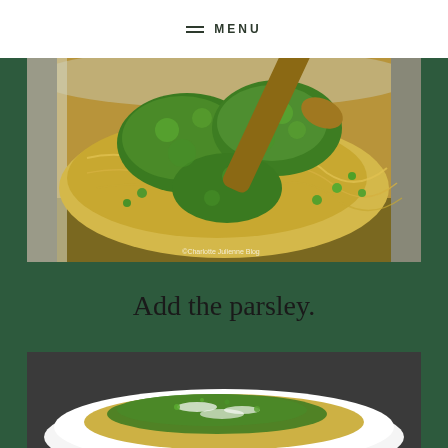≡ MENU
[Figure (photo): A large stainless steel pot containing spaghetti or angel hair pasta being tossed with fresh green herbs (parsley/cilantro), peas, and other vegetables, stirred with a wooden spoon. Watermark reads: ©Charlotte Julienne Blog]
Add the parsley.
[Figure (photo): A white plate with pasta garnished with chopped fresh parsley and grated parmesan cheese.]